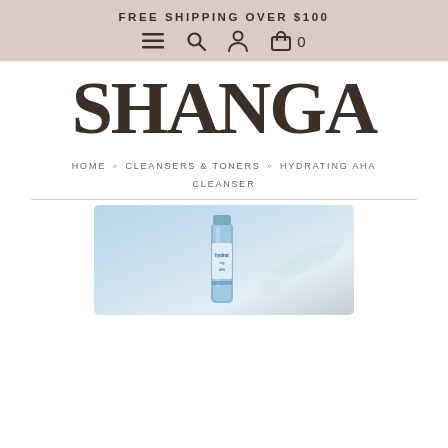FREE SHIPPING OVER $100
[Figure (screenshot): Navigation bar with hamburger menu, search, account, and shopping bag icons]
SHANGA
HOME » CLEANSERS & TONERS » HYDRATING AHA CLEANSER
[Figure (photo): Product photo of Hydrating AHA Cleanser bottle with feather background]